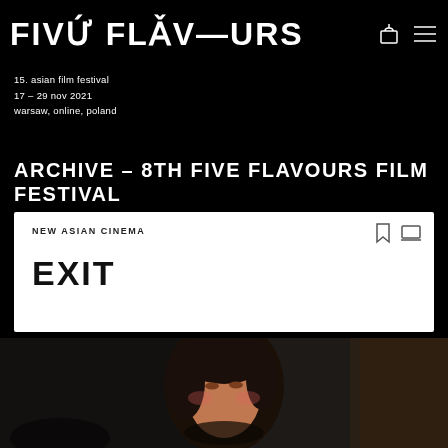FIVE FLAVOURS
15. asian film festival
17 – 29 nov 2021
warsaw, online, poland
ARCHIVE – 8TH FIVE FLAVOURS FILM FESTIVAL
NEW ASIAN CINEMA
EXIT
[Figure (photo): A woman with dark hair looking slightly upward, photographed in a dimly lit setting; film still from EXIT]